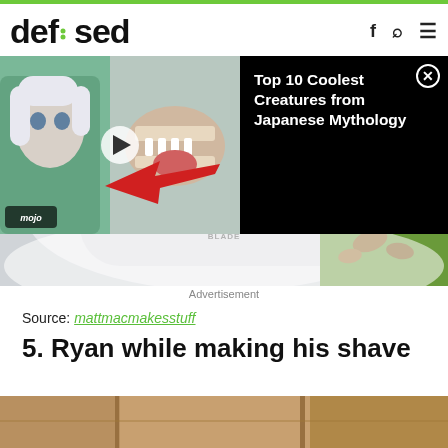defused
[Figure (screenshot): Mojo video thumbnail with anime creatures and a red arrow, overlaid with a black panel showing 'Top 10 Coolest Creatures from Japanese Mythology' and a close button]
[Figure (photo): Close-up photo of a lawnmower labeled TWIN BLADE on grass with leaves]
Advertisement
Source: mattmacmakesstuff
5. Ryan while making his shave
[Figure (photo): Partial photo of a room interior, bottom cropped]